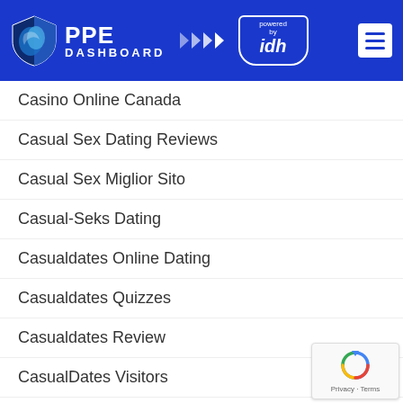[Figure (logo): PPE Dashboard header with shield logo, arrows, 'powered by idh' badge, and hamburger menu on blue background]
Casino Online Canada
Casual Sex Dating Reviews
Casual Sex Miglior Sito
Casual-Seks Dating
Casualdates Online Dating
Casualdates Quizzes
Casualdates Review
CasualDates Visitors
CasualX Review